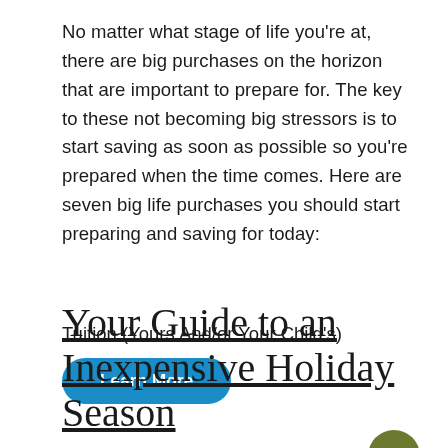No matter what stage of life you're at, there are big purchases on the horizon that are important to prepare for. The key to these not becoming big stressors is to start saving as soon as possible so you're prepared when the time comes. Here are seven big life purchases you should start preparing and saving for today:
Tuition (Yours And/or Your Child's)
Learn More
Your Guide to an Inexpensive Holiday Season